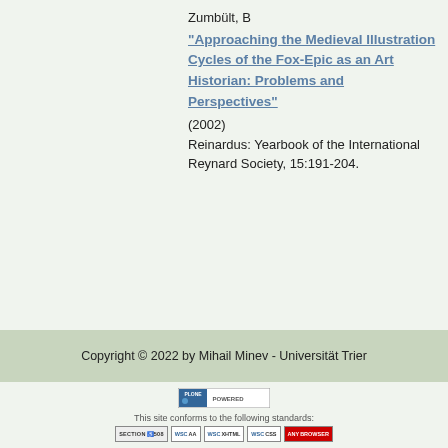Zumbült, B
"Approaching the Medieval Illustration Cycles of the Fox-Epic as an Art Historian: Problems and Perspectives"
(2002)
Reinardus: Yearbook of the International Reynard Society, 15:191-204.
Copyright © 2022 by Mihail Minev - Universität Trier
[Figure (logo): Plone Powered logo badge]
This site conforms to the following standards:
[Figure (infographic): Row of compliance badges: SECTION 508, WSC AA, WSC XHTML, WSC CSS, ANY BROWSER]